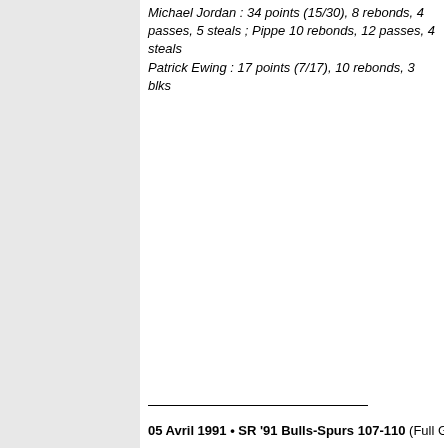Michael Jordan : 34 points (15/30), 8 rebonds, 4 passes, 5 steals ; Pippe 10 rebonds, 12 passes, 4 steals
Patrick Ewing : 17 points (7/17), 10 rebonds, 3 blks
05 Avril 1991 • SR '91  Bulls-Spurs 107-110 (Full Game)